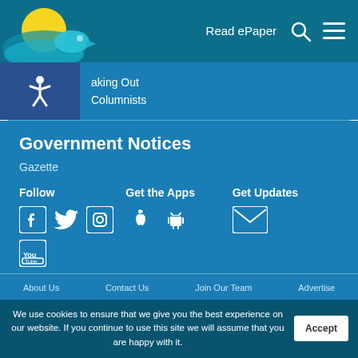[Figure (logo): News website logo with bird and sun graphic in teal and yellow]
Read ePaper
aking Out | Columnists
Government Notices
Gazette
Follow
Get the Apps
Get Updates
About Us | Contact Us | Join Our Team | Advertise
We use cookies to ensure that we give you the best experience on our website. If you continue to use this site we will assume that you are happy with it.